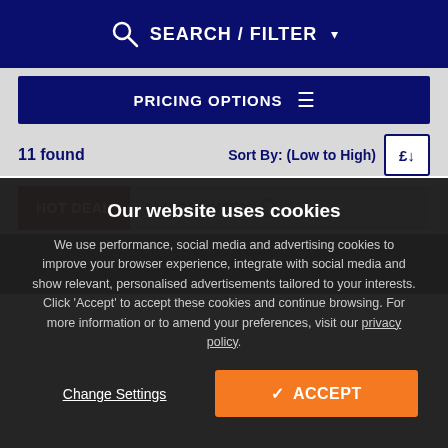SEARCH / FILTER
PRICING OPTIONS
11 found
Sort By: (Low to High)
HOT DEAL
JAN DELIVERY
Our website uses cookies
We use performance, social media and advertising cookies to improve your browser experience, integrate with social media and show relevant, personalised advertisements tailored to your interests. Click 'Accept' to accept these cookies and continue browsing. For more information or to amend your preferences, visit our privacy policy.
Change Settings
✓ ACCEPT